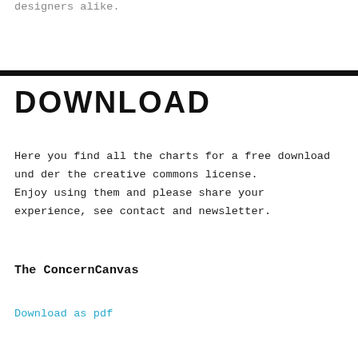designers alike.
DOWNLOAD
Here you find all the charts for a free download und der the creative commons license. Enjoy using them and please share your experience, see contact and newsletter.
The ConcernCanvas
Download as pdf